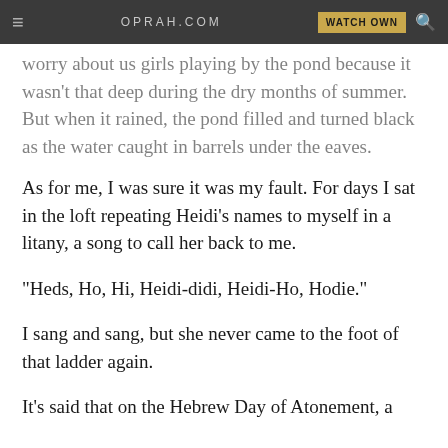OPRAH.COM | WATCH OWN
worry about us girls playing by the pond because it wasn't that deep during the dry months of summer. But when it rained, the pond filled and turned black as the water caught in barrels under the eaves.
As for me, I was sure it was my fault. For days I sat in the loft repeating Heidi's names to myself in a litany, a song to call her back to me.
"Heds, Ho, Hi, Heidi-didi, Heidi-Ho, Hodie."
I sang and sang, but she never came to the foot of that ladder again.
It's said that on the Hebrew Day of Atonement, a